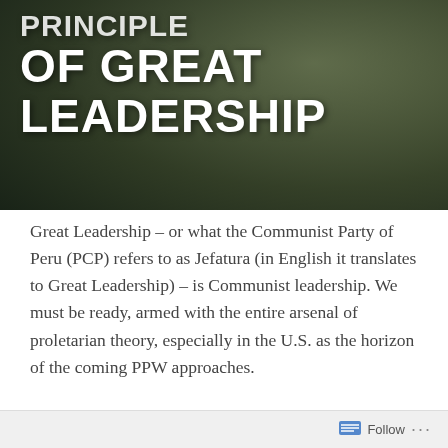[Figure (photo): Dark green/brown background photo (nature or urban scene) with large white bold text overlay reading 'PRINCIPLE OF GREAT LEADERSHIP' and partially visible text above it.]
Great Leadership – or what the Communist Party of Peru (PCP) refers to as Jefatura (in English it translates to Great Leadership) – is Communist leadership. We must be ready, armed with the entire arsenal of proletarian theory, especially in the U.S. as the horizon of the coming PPW approaches.
Great Leadership is an integral part of Marxism, because it is a component of proletarian revolution, and its Communist Parties. It is the natural outcome of Democratic Centralism, as it will be explained
Follow ···